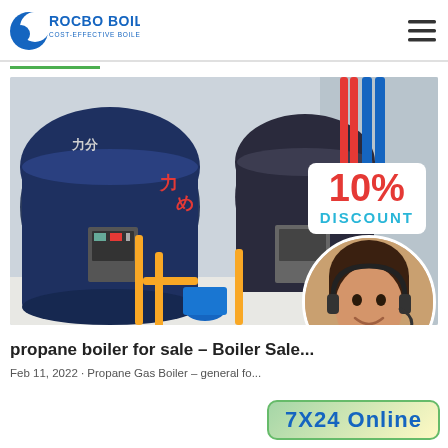[Figure (logo): Rocbo Boiler logo with crescent moon shape and text 'ROCBO BOILER COST-EFFECTIVE BOILER SUPPLIER']
[Figure (photo): Industrial boiler room with large blue cylindrical boilers, yellow and red piping, control panels. Overlaid with a 10% DISCOUNT badge and a customer service agent in a circle.]
propane boiler for sale – Boiler Sale...
Feb 11, 2022 · Propane Gas Boiler – general fo...
[Figure (infographic): 7X24 Online customer support badge with green/yellow gradient background]